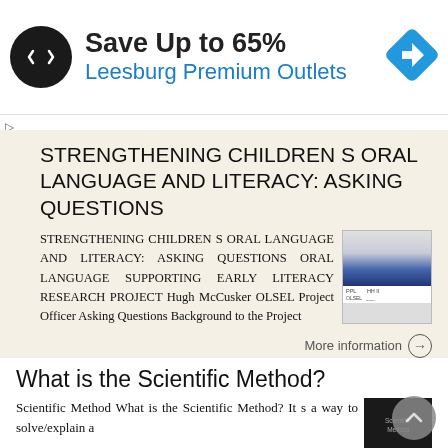[Figure (infographic): Advertisement banner: black circular logo with double arrow symbol, text 'Save Up to 65%' in bold dark, 'Leesburg Premium Outlets' in blue, blue diamond navigation icon on right]
STRENGTHENING CHILDREN S ORAL LANGUAGE AND LITERACY: ASKING QUESTIONS
STRENGTHENING CHILDREN S ORAL LANGUAGE AND LITERACY: ASKING QUESTIONS ORAL LANGUAGE SUPPORTING EARLY LITERACY RESEARCH PROJECT Hugh McCusker OLSEL Project Officer Asking Questions Background to the Project
More information →
What is the Scientific Method?
Scientific Method What is the Scientific Method? It s a way to solve/explain a